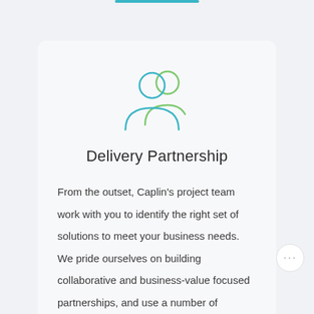[Figure (illustration): Two person silhouette icons in teal/blue and green outline style representing a partnership or team]
Delivery Partnership
From the outset, Caplin's project team work with you to identify the right set of solutions to meet your business needs. We pride ourselves on building collaborative and business-value focused partnerships, and use a number of delivery strategies and